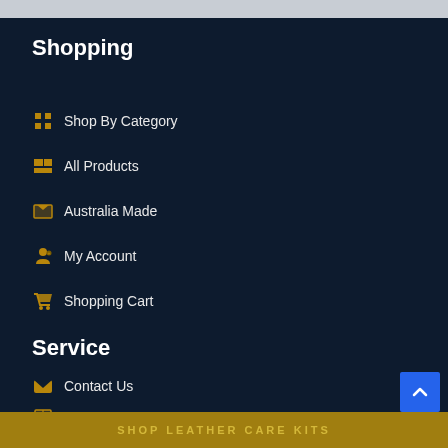Shopping
Shop By Category
All Products
Australia Made
My Account
Shopping Cart
Service
Contact Us
Privacy Policy
Terms of Use
SHOP LEATHER CARE KITS